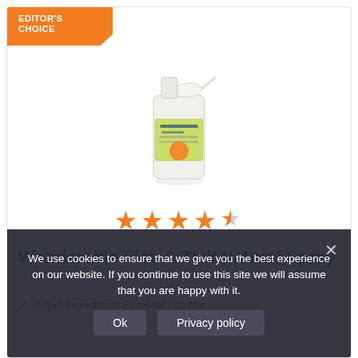[Figure (photo): Orange 'EDITOR'S CHOICE' badge in top-left corner of product card]
[Figure (photo): Wondercide Flea & Tick Natural Spray bottle product image - white spray bottle with green label]
[Figure (other): 4.5 out of 5 star rating displayed in orange stars]
Wondercide Flea & Tick Natural Spray
Active Ingredients: Essential Oils Mix
We use cookies to ensure that we give you the best experience on our website. If you continue to use this site we will assume that you are happy with it.